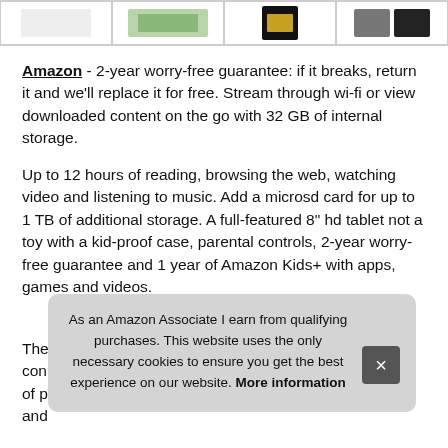[Figure (photo): Four product image thumbnails in a horizontal strip at the top of the page]
Amazon - 2-year worry-free guarantee: if it breaks, return it and we'll replace it for free. Stream through wi-fi or view downloaded content on the go with 32 GB of internal storage.
Up to 12 hours of reading, browsing the web, watching video and listening to music. Add a microsd card for up to 1 TB of additional storage. A full-featured 8" hd tablet not a toy with a kid-proof case, parental controls, 2-year worry-free guarantee and 1 year of Amazon Kids+ with apps, games and videos.
More information
The con of p and
As an Amazon Associate I earn from qualifying purchases. This website uses the only necessary cookies to ensure you get the best experience on our website. More information